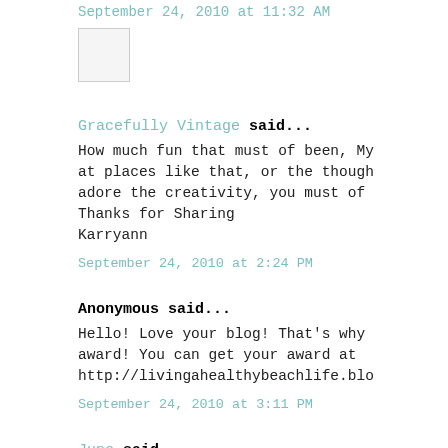September 24, 2010 at 11:32 AM
Gracefully Vintage said...
How much fun that must of been, My at places like that, or the though adore the creativity, you must of Thanks for Sharing Karryann
September 24, 2010 at 2:24 PM
Anonymous said...
Hello! Love your blog! That's why award! You can get your award at http://livingahealthybeachlife.blo
September 24, 2010 at 3:11 PM
June said